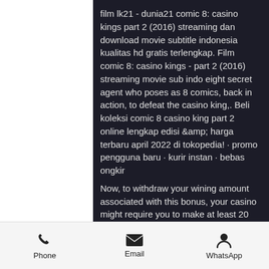film lk21 - dunia21 comic 8: casino kings part 2 (2016) streaming dan download movie subtitle indonesia kualitas hd gratis terlengkap. Film comic 8: casino kings - part 2 (2016) streaming movie sub indo eight secret agent who poses as 8 comics, back in action, to defeat the casino king,. Beli koleksi comic 8 casino king part 2 online lengkap edisi &amp; harga terbaru april 2022 di tokopedia! · promo pengguna baru · kurir instan · bebas ongkir
Now, to withdraw your wining amount associated with this bonus, your casino might require you to make at least 20 times that bonus, which means $400, comic8 casino king part 2 ganool.
Judges resolve which initiatives are essentially the most revolutionary based mostly on predetermined standards. No
Phone   Email   WhatsApp